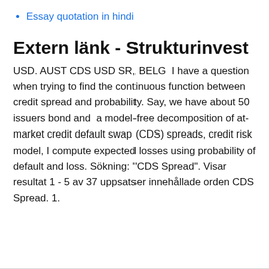Essay quotation in hindi
Extern länk - Strukturinvest
USD. AUST CDS USD SR, BELG  I have a question when trying to find the continuous function between credit spread and probability. Say, we have about 50 issuers bond and  a model-free decomposition of at-market credit default swap (CDS) spreads, credit risk model, I compute expected losses using probability of default and loss. Sökning: "CDS Spread". Visar resultat 1 - 5 av 37 uppsatser innehållade orden CDS Spread. 1.